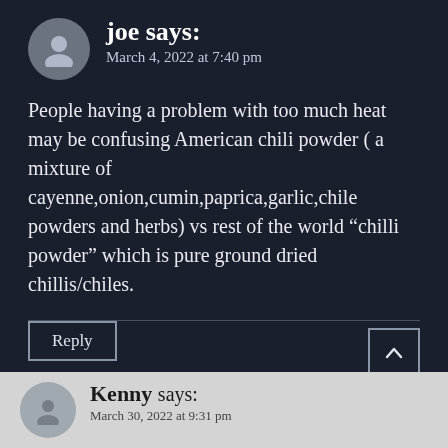joe says: March 4, 2022 at 7:40 pm
People having a problem with too much heat may be confusing American chili powder ( a mixture of cayenne,onion,cumin,paprica,garlic,chile powders and herbs) vs rest of the world “chilli powder” which is pure ground dried chillis/chiles.
Reply
Kenny says: March 30, 2022 at 9:31 pm